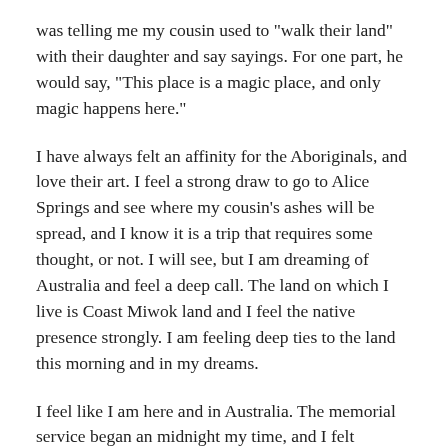was telling me my cousin used to "walk their land" with their daughter and say sayings. For one part, he would say, "This place is a magic place, and only magic happens here."
I have always felt an affinity for the Aboriginals, and love their art. I feel a strong draw to go to Alice Springs and see where my cousin's ashes will be spread, and I know it is a trip that requires some thought, or not. I will see, but I am dreaming of Australia and feel a deep call. The land on which I live is Coast Miwok land and I feel the native presence strongly. I am feeling deep ties to the land this morning and in my dreams.
I feel like I am here and in Australia. The memorial service began an midnight my time, and I felt strongly awake then, and again, at four, probably when it ended. Alice Springs is a small town, and his wife was born there, and he came to it over 30 years ago when